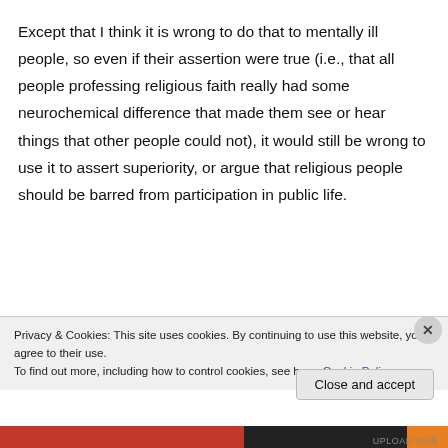Except that I think it is wrong to do that to mentally ill people, so even if their assertion were true (i.e., that all people professing religious faith really had some neurochemical difference that made them see or hear things that other people could not), it would still be wrong to use it to assert superiority, or argue that religious people should be barred from participation in public life.
Privacy & Cookies: This site uses cookies. By continuing to use this website, you agree to their use.
To find out more, including how to control cookies, see here: Cookie Policy
Close and accept